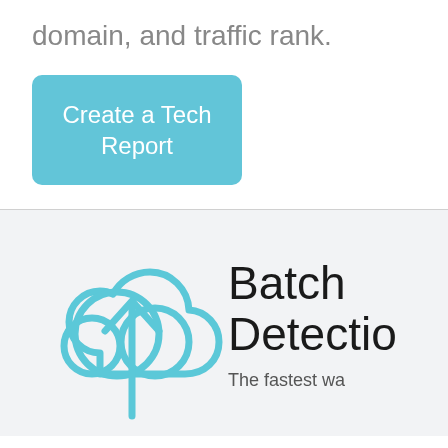domain, and traffic rank.
Create a Tech Report
[Figure (illustration): Cloud upload icon — a cloud outline with an upward arrow, drawn in light blue strokes on a light grey background.]
Batch Detection
The fastest wa